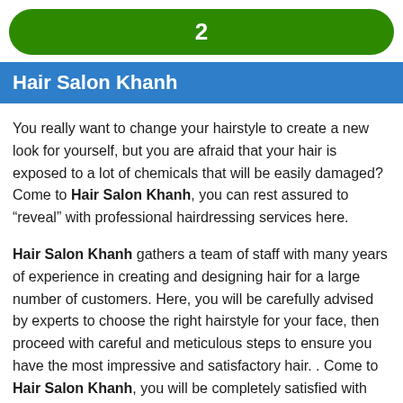2
Hair Salon Khanh
You really want to change your hairstyle to create a new look for yourself, but you are afraid that your hair is exposed to a lot of chemicals that will be easily damaged? Come to Hair Salon Khanh, you can rest assured to “reveal” with professional hairdressing services here.
Hair Salon Khanh gathers a team of staff with many years of experience in creating and designing hair for a large number of customers. Here, you will be carefully advised by experts to choose the right hairstyle for your face, then proceed with careful and meticulous steps to ensure you have the most impressive and satisfactory hair. . Come to Hair Salon Khanh, you will be completely satisfied with